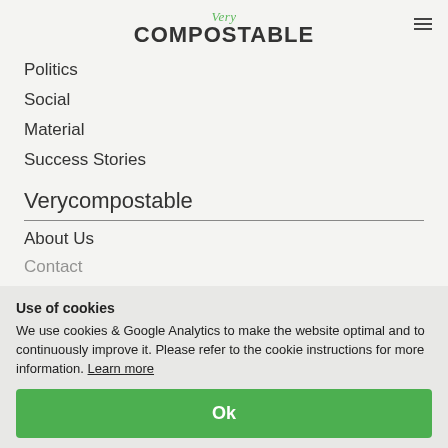Very COMPOSTABLE
Politics
Social
Material
Success Stories
Verycompostable
About Us
Contact
Use of cookies
We use cookies & Google Analytics to make the website optimal and to continuously improve it. Please refer to the cookie instructions for more information. Learn more
Ok